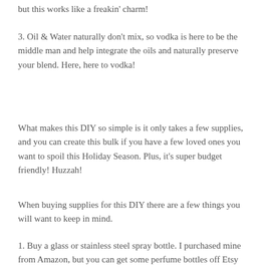but this works like a freakin' charm!
3. Oil & Water naturally don't mix, so vodka is here to be the middle man and help integrate the oils and naturally preserve your blend. Here, here to vodka!
What makes this DIY so simple is it only takes a few supplies, and you can create this bulk if you have a few loved ones you want to spoil this Holiday Season. Plus, it's super budget friendly! Huzzah!
When buying supplies for this DIY there are a few things you will want to keep in mind.
1. Buy a glass or stainless steel spray bottle. I purchased mine from Amazon, but you can get some perfume bottles off Etsy that will really